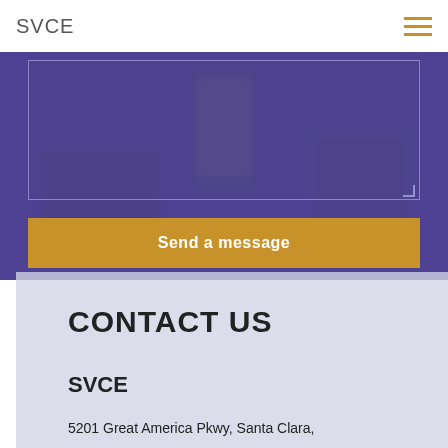SVCE
[Figure (photo): Dark purple-tinted background photo showing hands holding a smartphone, with a laptop in the background. Overlaid with a contact form textarea and a send button.]
Send a message
CONTACT US
SVCE
5201 Great America Pkwy, Santa Clara,